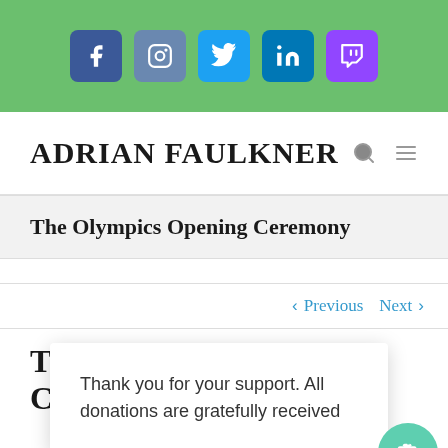[Figure (screenshot): Social media icon bar with Facebook, Instagram, Twitter, LinkedIn, and Twitch icons on a green background]
ADRIAN FAULKNER
The Olympics Opening Ceremony
Previous  Next
Thank you for your support. All donations are gratefully received
The Cere